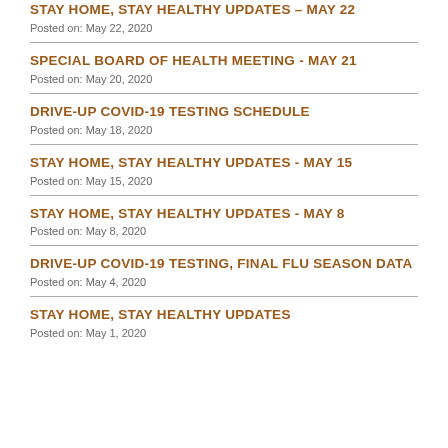STAY HOME, STAY HEALTHY UPDATES – MAY 22
Posted on: May 22, 2020
SPECIAL BOARD OF HEALTH MEETING - MAY 21
Posted on: May 20, 2020
DRIVE-UP COVID-19 TESTING SCHEDULE
Posted on: May 18, 2020
STAY HOME, STAY HEALTHY UPDATES - MAY 15
Posted on: May 15, 2020
STAY HOME, STAY HEALTHY UPDATES - MAY 8
Posted on: May 8, 2020
DRIVE-UP COVID-19 TESTING, FINAL FLU SEASON DATA
Posted on: May 4, 2020
STAY HOME, STAY HEALTHY UPDATES
Posted on: May 1, 2020